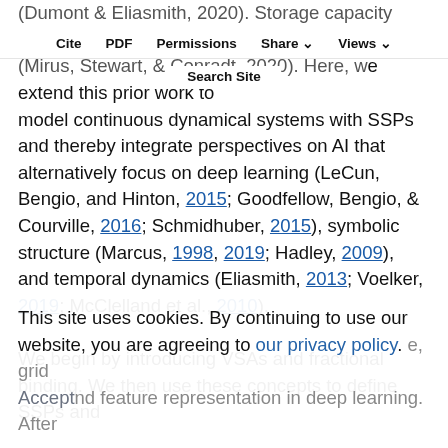Cite | PDF | Permissions | Share | Views | Search Site
(Dumont & Eliasmith, 2020). Storage capacity analyses with SSPs have also been performed (Mirus, Stewart, & Conradt, 2020). Here, we extend this prior work to model continuous dynamical systems with SSPs and thereby integrate perspectives on AI that alternatively focus on deep learning (LeCun, Bengio, and Hinton, 2015; Goodfellow, Bengio, & Courville, 2016; Schmidhuber, 2015), symbolic structure (Marcus, 1998, 2019; Hadley, 2009), and temporal dynamics (Eliasmith, 2013; Voelker, 2019; McClelland et al., 2010). We begin by introducing VSAs and fractional binding. We then use these concepts to define SSPs and discuss methods for using them. We discuss their use for continuous spaces, temporal dynamics, grid cells, and feature representation in deep learning. After this...
This site uses cookies. By continuing to use our website, you are agreeing to our privacy policy. Accept